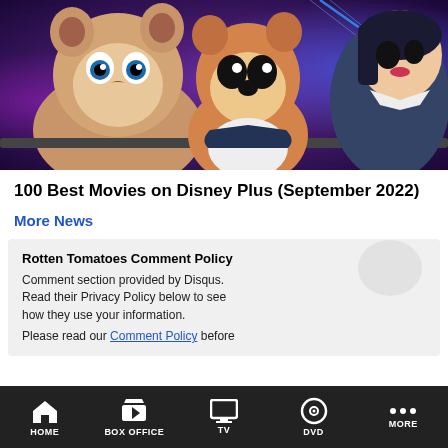[Figure (photo): Animated squirrels (chipmunks) from Chip and Dale movie, set against purple neon-lit background]
100 Best Movies on Disney Plus (September 2022)
More News
Rotten Tomatoes Comment Policy
Comment section provided by Disqus. Read their Privacy Policy below to see how they use your information.
Please read our Comment Policy before
HOME  BOX OFFICE  TV  DVD  MORE